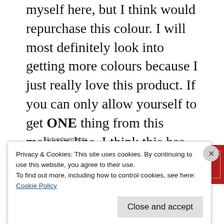myself here, but I think would repurchase this colour. I will most definitely look into getting more colours because I just really love this product. If you can only allow yourself to get ONE thing from this makeup line, I think this has to be it.
[Figure (other): Advertisement banner for Longreads: red background with white border, logo circle with L, text 'LONGREADS' and tagline 'The best stories on the web – ours, and everyone else's.']
Overall, I'm really happy with my purchase. I do
Privacy & Cookies: This site uses cookies. By continuing to use this website, you agree to their use.
To find out more, including how to control cookies, see here:
Cookie Policy